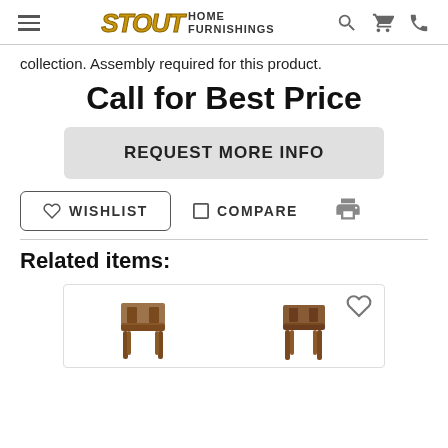Stout Home Furnishings
collection. Assembly required for this product.
Call for Best Price
REQUEST MORE INFO
WISHLIST   COMPARE
Related items:
[Figure (photo): Two wooden chairs shown as related furniture items]